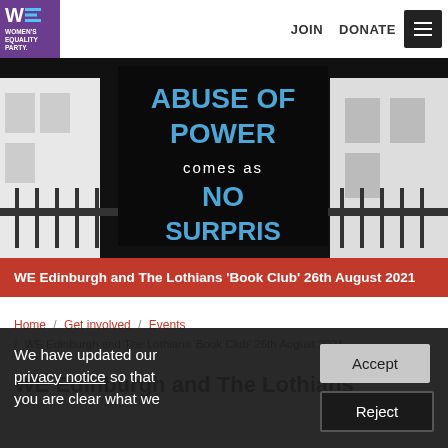JOIN   DONATE
[Figure (photo): Protest sign on black board reading 'ABUSE OF POWER comes as NO SURPRISE' with blue lettering, mounted on iron fence in front of white building]
WE Edinburgh and The Lothians 'Book Club' 26th August 2021
Home / Get involved / Events / WE Edinburgh and The Lothians 'Book Club' 26th August 2021
WE Edinburgh and The Lothians
We have updated our privacy notice so that you are clear what we